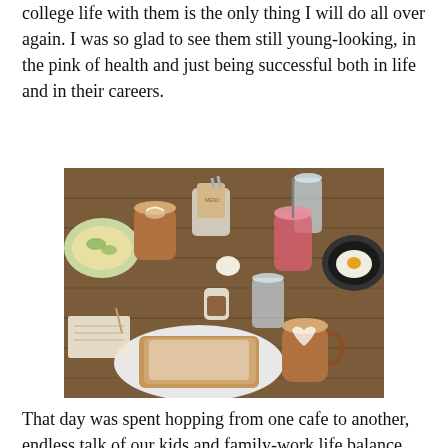college life with them is the only thing I will do all over again. I was so glad to see them still young-looking, in the pink of health and just being successful both in life and in their careers.
[Figure (photo): Overhead view of a cafe table with brunch food and drinks: a latte in a copper mug, a pink drink, fried eggs in a skillet, French toast dusted with powdered sugar on a white plate, a second latte, a small pitcher of syrup, glasses of water, and a mug holding straws and a paper bag.]
That day was spent hopping from one cafe to another, endless talk of our kids and family-work life balance, and of